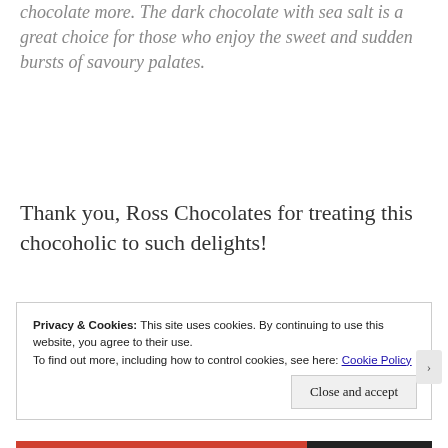chocolate more. The dark chocolate with sea salt is a great choice for those who enjoy the sweet and sudden bursts of savoury palates.
Thank you, Ross Chocolates for treating this chocoholic to such delights!
Privacy & Cookies: This site uses cookies. By continuing to use this website, you agree to their use.
To find out more, including how to control cookies, see here: Cookie Policy
Close and accept